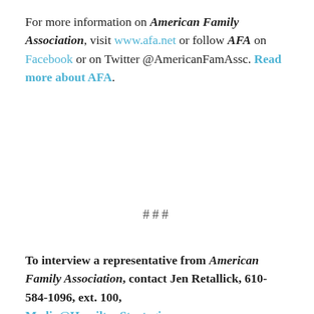For more information on American Family Association, visit www.afa.net or follow AFA on Facebook or on Twitter @AmericanFamAssc. Read more about AFA.
###
To interview a representative from American Family Association, contact Jen Retallick, 610-584-1096, ext. 100, Media@HamiltonStrategies.com or